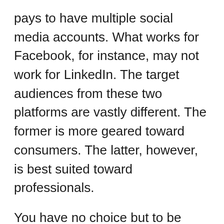pays to have multiple social media accounts. What works for Facebook, for instance, may not work for LinkedIn. The target audiences from these two platforms are vastly different. The former is more geared toward consumers. The latter, however, is best suited toward professionals.
You have no choice but to be active on multiple channels. Otherwise, your competitors will leave you behind.
Instagram Is the Most Popular Social Media Platform for the Youth Aged 12-24.
Teens and young adults may not have a lot of